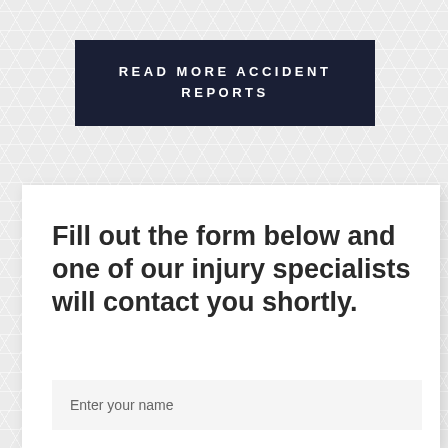READ MORE ACCIDENT REPORTS
Fill out the form below and one of our injury specialists will contact you shortly.
Enter your name